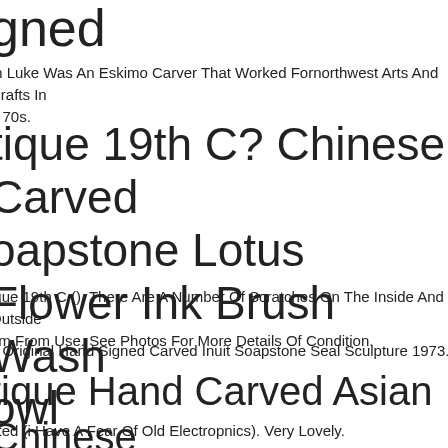gned
m Luke Was An Eskimo Carver That Worked Fornorthwest Arts And Crafts In the 70s.
tique 19th C? Chinese Carved oapstone Lotus Flower Ink Brush Wash owl
ique 19th C (). There Are A Number Of Scratches On The Inside And Outside om From Use. See Photos For More Details Of Condition.
e Original Hand Signed Carved Inuit Soapstone Seal Sculpture 1973.
tique Hand Carved Asian Chinese oapstone Lmap Untested Nice
sted (i Have A Fear Of Old Electropnics). Very Lovely.